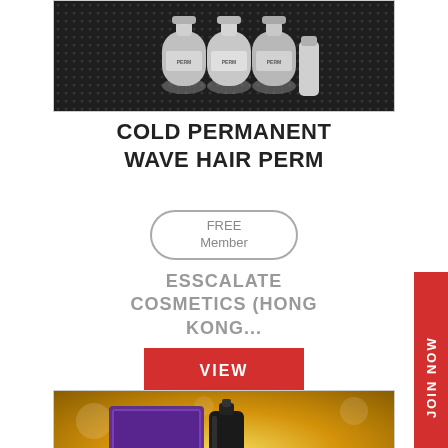[Figure (photo): Product photo showing hair perm bottles on dark background]
COLD PERMANENT WAVE HAIR PERM
FREE Member
ESSCALATE COSMETICS (HONG KONG...
VIEW
JOIN NOW
[Figure (photo): Product photo showing Fragrance Lavender cosmetics set on gold glittery background]